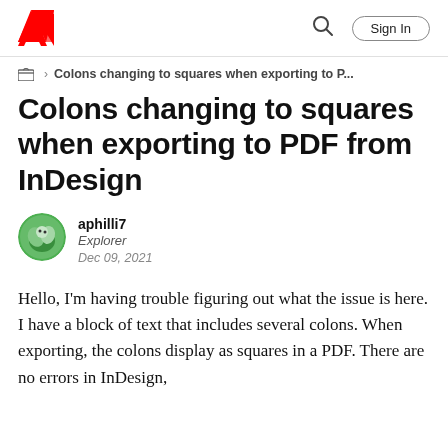Adobe | Sign In
Colons changing to squares when exporting to P...
Colons changing to squares when exporting to PDF from InDesign
aphilli7
Explorer
Dec 09, 2021
Hello, I'm having trouble figuring out what the issue is here. I have a block of text that includes several colons. When exporting, the colons display as squares in a PDF. There are no errors in InDesign,